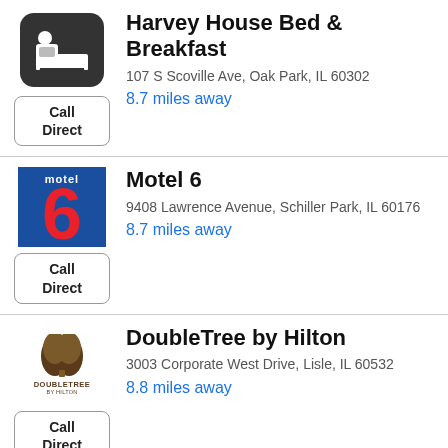[Figure (logo): Bed and breakfast icon: dark rounded square with bed/person symbol]
Harvey House Bed & Breakfast
107 S Scoville Ave, Oak Park, IL 60302
8.7 miles away
[Figure (logo): Motel 6 logo: blue square with large red 6 and small 'motel' text]
Motel 6
9408 Lawrence Avenue, Schiller Park, IL 60176
8.7 miles away
[Figure (logo): DoubleTree by Hilton logo: brown tree icon with DOUBLETREE BY HILTON text]
DoubleTree by Hilton
3003 Corporate West Drive, Lisle, IL 60532
8.8 miles away